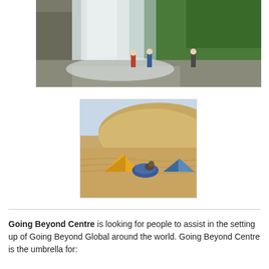[Figure (photo): Waterfall scene with hikers/climbers standing at the base of a large waterfall surrounded by green vegetation and rocky terrain]
[Figure (photo): Desert camping scene with yellow and blue tents set up on sand dunes under a clear sky]
Going Beyond Centre is looking for people to assist in the setting up of Going Beyond Global around the world. Going Beyond Centre is the umbrella for: